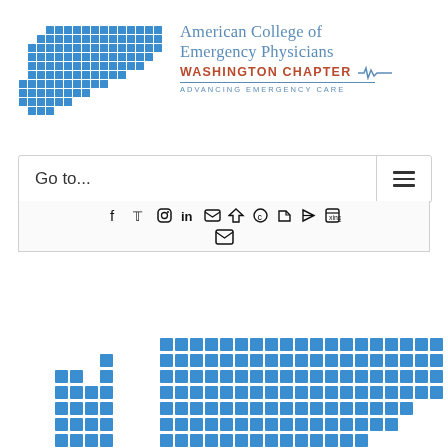[Figure (logo): Washington state map made of blue grid squares — ACEP Washington Chapter logo mark]
American College of Emergency Physicians WASHINGTON CHAPTER ADVANCING EMERGENCY CARE
Go to...
[Figure (infographic): Social media sharing icons row: Facebook, Twitter, Instagram, LinkedIn, Pinterest, share arrow, phone, bookmark, another icon, another icon, and below an email envelope icon]
[Figure (logo): Partial ACEP Washington Chapter logo at bottom of page — blue grid squares forming Washington state map, cropped]